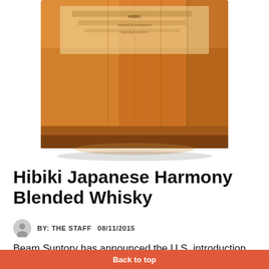[Figure (photo): Close-up photograph of the bottom portion of a Hibiki Japanese Harmony Blended Whisky bottle, showing amber/orange whisky liquid inside the square-shaped glass bottle with label visible]
Hibiki Japanese Harmony Blended Whisky
BY: THE STAFF   08/11/2015
Beam Suntory has announced the U.S. introduction of Hibiki Japanese Harmony Whisky. Hibiki Japanese Harmony pays tribute to
Back to top